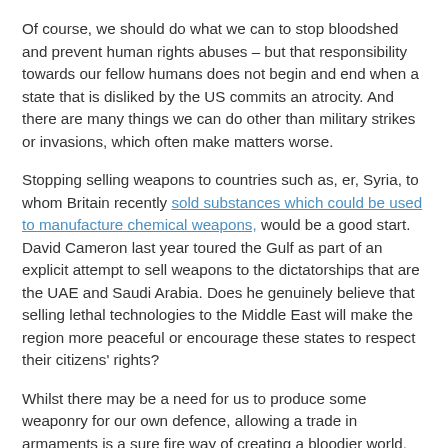Of course, we should do what we can to stop bloodshed and prevent human rights abuses – but that responsibility towards our fellow humans does not begin and end when a state that is disliked by the US commits an atrocity. And there are many things we can do other than military strikes or invasions, which often make matters worse.
Stopping selling weapons to countries such as, er, Syria, to whom Britain recently sold substances which could be used to manufacture chemical weapons, would be a good start. David Cameron last year toured the Gulf as part of an explicit attempt to sell weapons to the dictatorships that are the UAE and Saudi Arabia. Does he genuinely believe that selling lethal technologies to the Middle East will make the region more peaceful or encourage these states to respect their citizens' rights?
Whilst there may be a need for us to produce some weaponry for our own defence, allowing a trade in armaments is a sure fire way of creating a bloodier world. The legally mandated drive for profit means that private arms manufacturers must seek to sell as many of their deadly wares as possible – and therefore they have a vested interest in both creating conflict, and in selling to despots. Britain's claims to a moral high ground for its invasions are undermined by these arm sales– if the UK genuinely invaded Iraq for humanitarian reasons, why